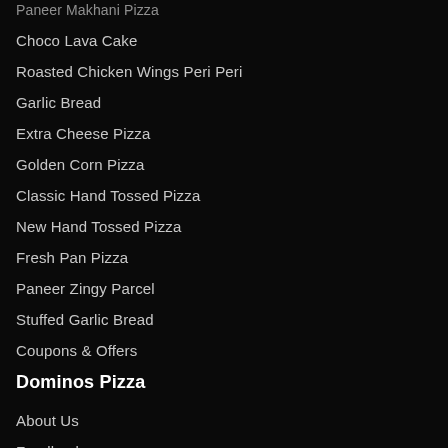Paneer Makhani Pizza
Choco Lava Cake
Roasted Chicken Wings Peri Peri
Garlic Bread
Extra Cheese Pizza
Golden Corn Pizza
Classic Hand Tossed Pizza
New Hand Tossed Pizza
Fresh Pan Pizza
Paneer Zingy Parcel
Stuffed Garlic Bread
Coupons & Offers
Dominos Pizza
About Us
Feedback
Ads
Domino's Pizza Phone Number
Virtual Pizza Party